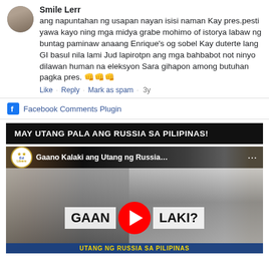Smile Lerr
ang napuntahan ng usapan nayan isisi naman Kay pres.pesti yawa kayo ning mga midya grabe mohimo of istorya labaw ng buntag paminaw anaang Enrique's og sobel Kay duterte lang GI basul nila lami Jud lapirotpn ang mga bahbabot not ninyo dilawan human na eleksyon Sara gihapon among butuhan pagka pres. 👊👊👊
Like · Reply · Mark as spam · 3y
Facebook Comments Plugin
MAY UTANG PALA ANG RUSSIA SA PILIPINAS!
[Figure (screenshot): YouTube video thumbnail showing 'Gaano Kalaki ang Utang ng Russia...' with Ed Libre channel logo, black and white historical photos, and large text 'GAAN [YouTube play button] LAKI?' with blue bottom bar reading 'UTANG NG RUSSIA SA PILIPINAS']